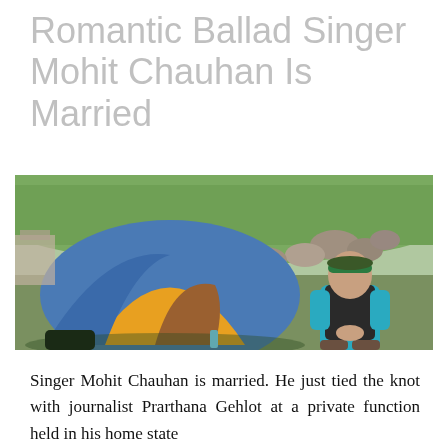Romantic Ballad Singer Mohit Chauhan Is Married
[Figure (photo): A man wearing a green headband and teal/blue jacket sits crouching outdoors near a colorful dome camping tent (yellow, orange, and blue) in a mountainous green landscape with rocky terrain in the background.]
Singer Mohit Chauhan is married. He just tied the knot with journalist Prarthana Gehlot at a private function held in his home state